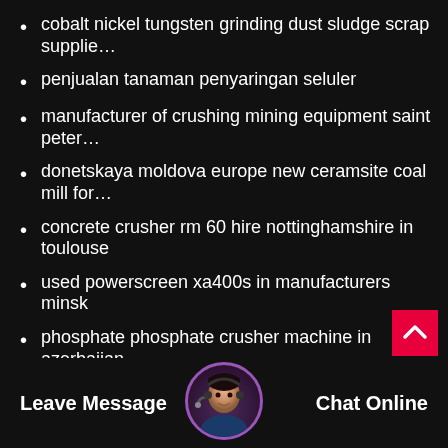cobalt nickel tungsten grinding dust sludge scrap supplie…
penjualan tanaman penyaringan seluler
manufacturer of crushing mining equipment saint peter…
donetskaya moldova europe new ceramsite coal mill for…
concrete crusher rm 60 hire nottinghamshire in toulouse
used powerscreen xa400s in manufacturers minsk
phosphate phosphate crusher machine in azerbaijan
working of cone crusher video or bhufrom georgia
vanuatu zenith start to produce mobile crusher
por le limestone stone crusher cost algeria in indones…
leading stone crusher m… …ini impact crusher mac…
Leave Message
Chat Online